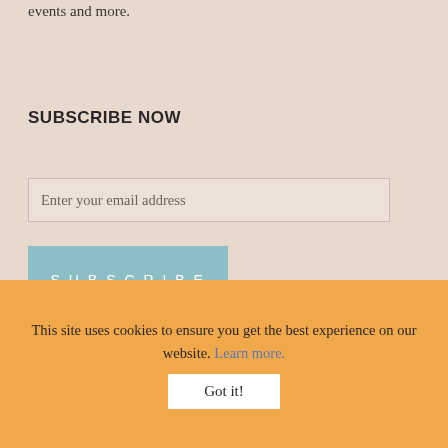events and more.
SUBSCRIBE NOW
Enter your email address
SUBSCRIBE
ABOUT US
A destination for all curl types, where kinky, coily
This site uses cookies to ensure you get the best experience on our website. Learn more.
Got it!